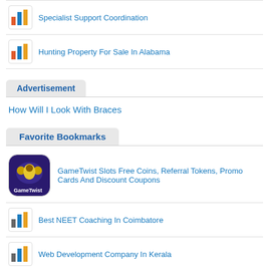Specialist Support Coordination
Hunting Property For Sale In Alabama
Advertisement
How Will I Look With Braces
Favorite Bookmarks
GameTwist Slots Free Coins, Referral Tokens, Promo Cards And Discount Coupons
Best NEET Coaching In Coimbatore
Web Development Company In Kerala
Ride Sharing App Development Company
Hemp Packaging To Make Your Business Sustainable